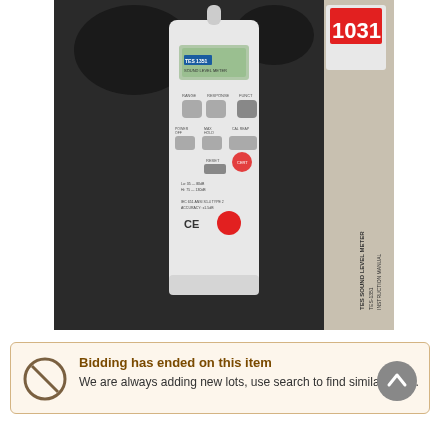[Figure (photo): A TES sound level meter (model TES-1351) in a foam-lined carrying case, with instruction manual visible on the right. A red auction lot tag '1031' is visible in the top right corner.]
Bidding has ended on this item
We are always adding new lots, use search to find similar items.